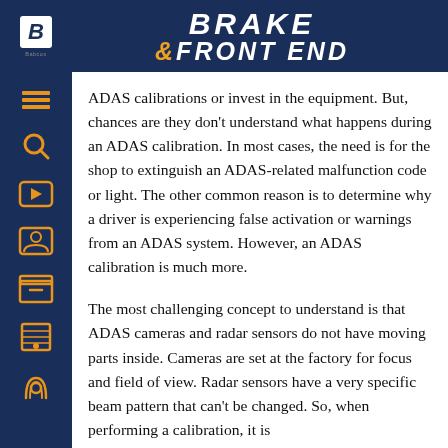BRAKE & FRONT END
ADAS calibrations or invest in the equipment. But, chances are they don't understand what happens during an ADAS calibration. In most cases, the need is for the shop to extinguish an ADAS-related malfunction code or light. The other common reason is to determine why a driver is experiencing false activation or warnings from an ADAS system. However, an ADAS calibration is much more.
The most challenging concept to understand is that ADAS cameras and radar sensors do not have moving parts inside. Cameras are set at the factory for focus and field of view. Radar sensors have a very specific beam pattern that can't be changed. So, when performing a calibration, it is